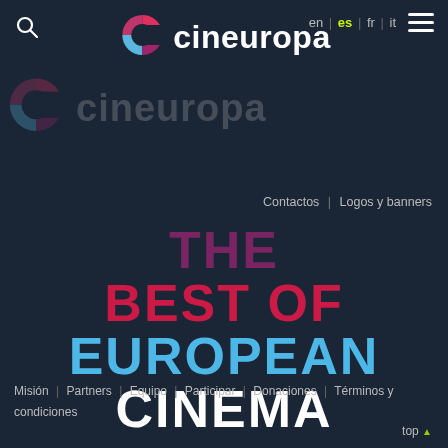cineuropa — en | es | fr | it
[Figure (logo): Cineuropa logo: colorful C letter mark with 'cineuropa' text in white, and a ghost/watermark version behind]
Contactos  |  Logos y banners
THE BEST OF EUROPEAN CINEMA
Misión  |  Partners  |  Equipo  |  Participar  |  Donaciones  |  Términos y condiciones
top ▲